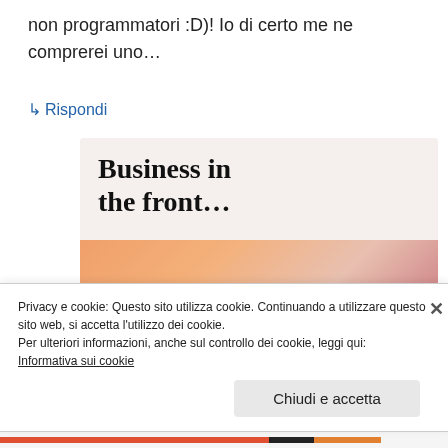non programmatori :D)! Io di certo me ne comprerei uno…
↳ Rispondi
[Figure (illustration): Advertisement banner: top section with light beige background showing text 'Business in the front...' in bold serif font; bottom section with orange/peach gradient background showing text 'WordPress in the back.' in bold serif font.]
Privacy e cookie: Questo sito utilizza cookie. Continuando a utilizzare questo sito web, si accetta l'utilizzo dei cookie.
Per ulteriori informazioni, anche sul controllo dei cookie, leggi qui:
Informativa sui cookie
Chiudi e accetta